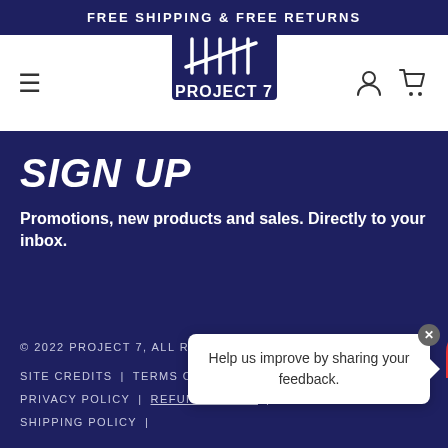FREE SHIPPING & FREE RETURNS
[Figure (logo): Project 7 logo with tally marks above text on dark navy background, hamburger menu on left, user and cart icons on right]
SIGN UP
Promotions, new products and sales. Directly to your inbox.
© 2022 PROJECT 7, ALL RIGHTS RESERVED
SITE CREDITS | TERMS OF SERVICE | PRIVACY POLICY | REFUND POLICY | SHIPPING POLICY |
[Figure (infographic): Feedback popup widget with close X button, text 'Help us improve by sharing your feedback.' and red feather icon button]